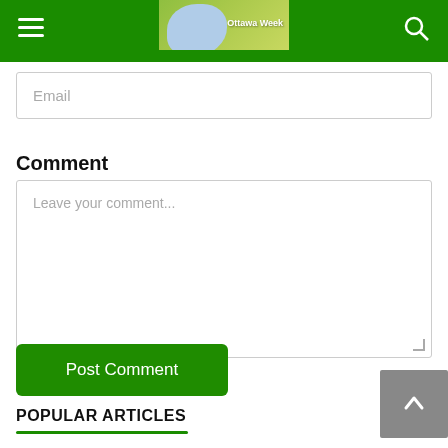Ottawa Week
Email
Comment
Leave your comment...
Post Comment
POPULAR ARTICLES